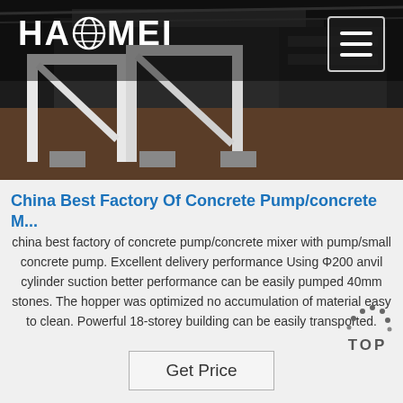[Figure (photo): Industrial machinery/concrete equipment photographed in a dark warehouse setting, showing white metal frame structures on a concrete floor. HAOMEI logo displayed top-left and hamburger menu button top-right.]
China Best Factory Of Concrete Pump/concrete M...
china best factory of concrete pump/concrete mixer with pump/small concrete pump. Excellent delivery performance Using Φ200 anvil cylinder suction better performance can be easily pumped 40mm stones. The hopper was optimized no accumulation of material easy to clean. Powerful 18-storey building can be easily transported.
Get Price